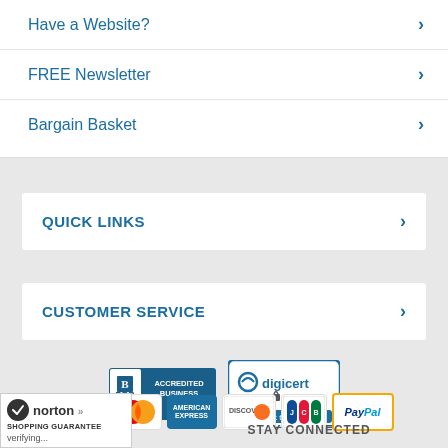Have a Website?
FREE Newsletter
Bargain Basket
QUICK LINKS
CUSTOMER SERVICE
[Figure (logo): BBB Accredited Business badge and DigiCert Secure Trusted badge]
[Figure (logo): Payment method logos: Visa, MasterCard, American Express, Discover, JCB, PayPal]
[Figure (logo): Norton Shopping Guarantee badge with verifying text]
STAY CONNECTED